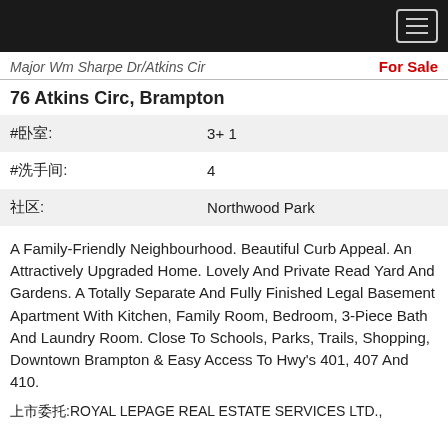Major Wm Sharpe Dr/Atkins Cir   For Sale
76 Atkins Circ, Brampton
| #卧室: | 3+ 1 |
| #洗手间: | 4 |
| 社区: | Northwood Park |
A Family-Friendly Neighbourhood. Beautiful Curb Appeal. An Attractively Upgraded Home. Lovely And Private Read Yard And Gardens. A Totally Separate And Fully Finished Legal Basement Apartment With Kitchen, Family Room, Bedroom, 3-Piece Bath And Laundry Room. Close To Schools, Parks, Trails, Shopping, Downtown Brampton & Easy Access To Hwy's 401, 407 And 410.
上市委托:ROYAL LEPAGE REAL ESTATE SERVICES LTD.,